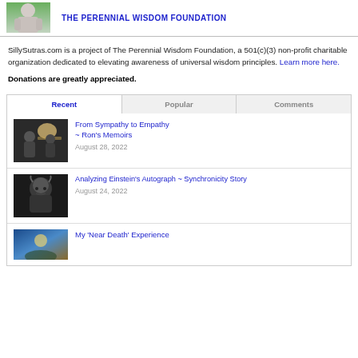[Figure (photo): Portrait photo of a person (partial, upper body)]
THE PERENNIAL WISDOM FOUNDATION
SillySutras.com is a project of The Perennial Wisdom Foundation, a 501(c)(3) non-profit charitable organization dedicated to elevating awareness of universal wisdom principles. Learn more here.
Donations are greatly appreciated.
Recent | Popular | Comments
[Figure (photo): Black and white photo of two people in a room with lamp]
From Sympathy to Empathy ~ Ron's Memoirs
August 28, 2022
[Figure (photo): Black and white portrait photo of Albert Einstein]
Analyzing Einstein's Autograph ~ Synchronicity Story
August 24, 2022
[Figure (photo): Colorful photo thumbnail]
My 'Near Death' Experience